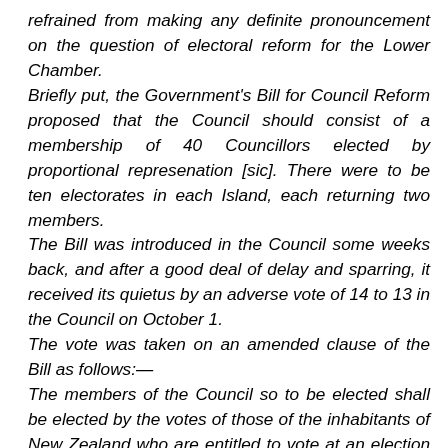refrained from making any definite pronouncement on the question of electoral reform for the Lower Chamber. Briefly put, the Government's Bill for Council Reform proposed that the Council should consist of a membership of 40 Councillors elected by proportional represenation [sic]. There were to be ten electorates in each Island, each returning two members. The Bill was introduced in the Council some weeks back, and after a good deal of delay and sparring, it received its quietus by an adverse vote of 14 to 13 in the Council on October 1. The vote was taken on an amended clause of the Bill as follows:— The members of the Council so to be elected shall be elected by the votes of those of the inhabitants of New Zealand who are entitled to vote at an election of a